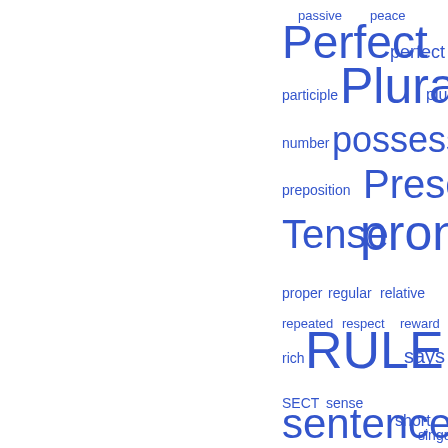[Figure (infographic): Word cloud with linguistics/grammar terms in various sizes in blue, on white background. Large words: Plural, pronoun, RULE, substantive, thing, Present Tense, Perfect, sentence. Medium words: possessive, participle, etc. Small words: passive, peace, proper, regular, relative, repeated, respect, reward, rich, says, SECT, sense, short, singular number, sometimes, sorts, sound, speech, SUBJUNCTIVE MOOD, syllable, SYNTAX, temper, third person, Thou, art, tion, tive, tree, true, number, preposition.]